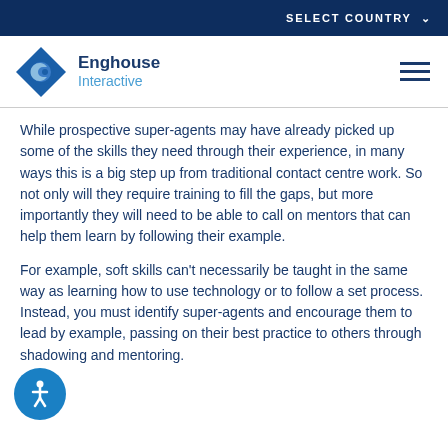SELECT COUNTRY
[Figure (logo): Enghouse Interactive logo with diamond/eye icon]
While prospective super-agents may have already picked up some of the skills they need through their experience, in many ways this is a big step up from traditional contact centre work. So not only will they require training to fill the gaps, but more importantly they will need to be able to call on mentors that can help them learn by following their example.
For example, soft skills can't necessarily be taught in the same way as learning how to use technology or to follow a set process. Instead, you must identify super-agents and encourage them to lead by example, passing on their best practice to others through shadowing and mentoring.